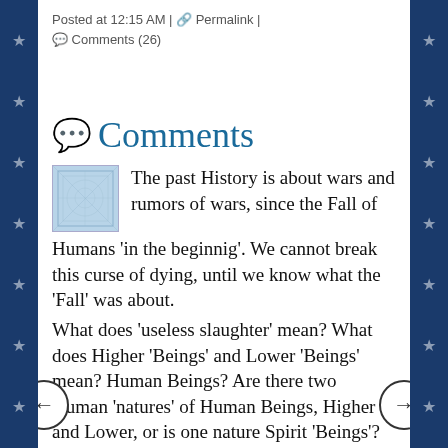Posted at 12:15 AM | 🔗 Permalink | 💬 Comments (26)
Comments
The past History is about wars and rumors of wars, since the Fall of Humans 'in the beginnig'. We cannot break this curse of dying, until we know what the 'Fall' was about.
What does 'useless slaughter' mean? What does Higher 'Beings' and Lower 'Beings' mean? Human Beings? Are there two Human 'natures' of Human Beings, Higher and Lower, or is one nature Spirit 'Beings'? Were